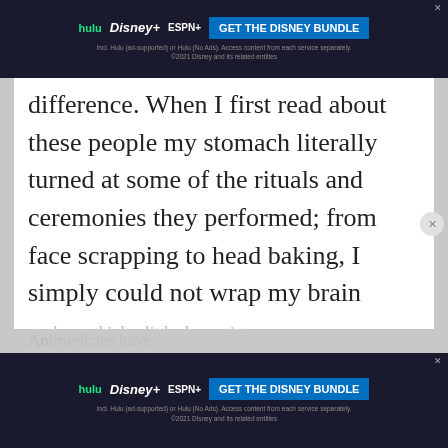[Figure (screenshot): Hulu Disney+ ESPN+ GET THE DISNEY BUNDLE advertisement banner at top of page]
difference. When I first read about these people my stomach literally turned at some of the rituals and ceremonies they performed; from face scrapping to head baking, I simply could not wrap my brain around what in the world these people were doing; until I heard about the anadrome. This
made me think a little deeper into
[Figure (screenshot): Hulu Disney+ ESPN+ GET THE DISNEY BUNDLE advertisement banner at bottom of page]
the Nacimera people; Americans have